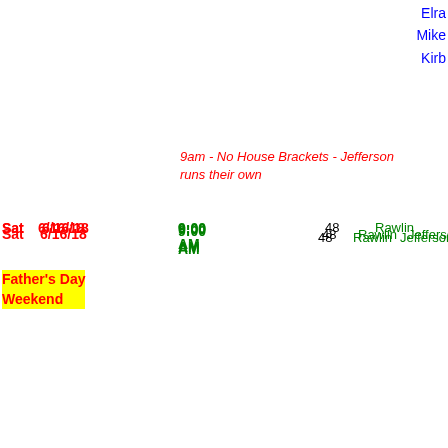Elra
Mike
Kirb
9am - No House Brackets - Jefferson runs their own
| Sat | 6/16/18 | 9:00 AM | 48 | Rawlin | Jefferson | 48 | 9:00 AM | 8 | And |
Father's Day Weekend
Dale
Bev
Edd
2pm - Limited House brackets - Jefferson runs their own
|  |  | 2:00 PM | 43 | Rawlin | Jefferson | 32 | 2:00 PM |  | No Squad |
|  |  |  |  | Mike | Marsili | 2 |  |  |  |
|  |  |  |  | Elray | Price | 2 |  |  |  |
|  |  |  |  | Andy | Neuer | 5 |  |  |  |
|  |  |  |  | Andrew | Sutphin | 2 |  |  |  |
7:00 PM  No Squad
9am - No House Bra...